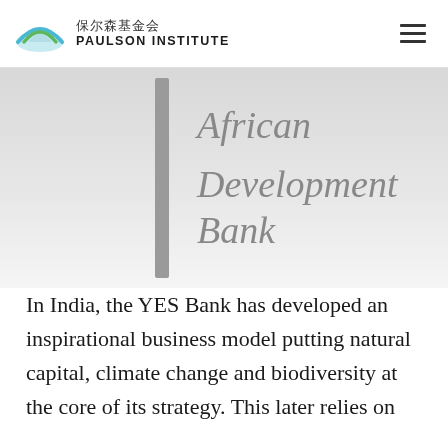保尔森基金会 PAULSON INSTITUTE
African Development Bank
In India, the YES Bank has developed an inspirational business model putting natural capital, climate change and biodiversity at the core of its strategy. This later relies on